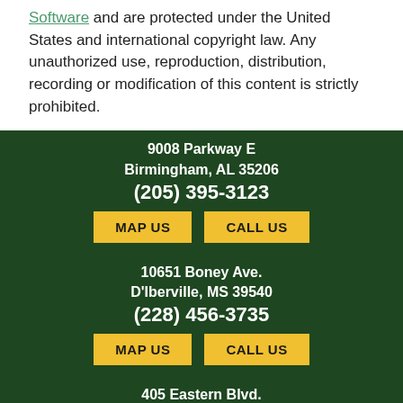Software and are protected under the United States and international copyright law. Any unauthorized use, reproduction, distribution, recording or modification of this content is strictly prohibited.
9008 Parkway E
Birmingham, AL 35206
(205) 395-3123
MAP US   CALL US
10651 Boney Ave.
D'Iberville, MS 39540
(228) 456-3735
MAP US   CALL US
405 Eastern Blvd.
Montgomery, AL
(334) 339-3464
MAP US   CALL US